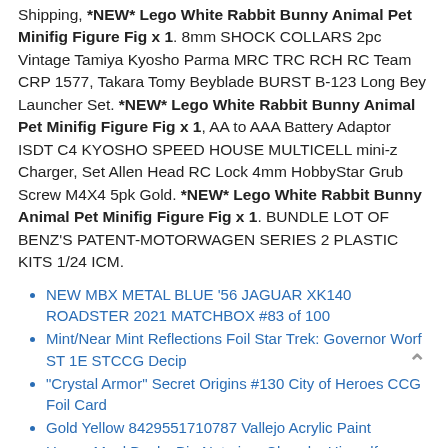Shipping, *NEW* Lego White Rabbit Bunny Animal Pet Minifig Figure Fig x 1. 8mm SHOCK COLLARS 2pc Vintage Tamiya Kyosho Parma MRC TRC RCH RC Team CRP 1577, Takara Tomy Beyblade BURST B-123 Long Bey Launcher Set. *NEW* Lego White Rabbit Bunny Animal Pet Minifig Figure Fig x 1, AA to AAA Battery Adaptor ISDT C4 KYOSHO SPEED HOUSE MULTICELL mini-z Charger, Set Allen Head RC Lock 4mm HobbyStar Grub Screw M4X4 5pk Gold. *NEW* Lego White Rabbit Bunny Animal Pet Minifig Figure Fig x 1. BUNDLE LOT OF BENZ'S PATENT-MOTORWAGEN SERIES 2 PLASTIC KITS 1/24 ICM.
NEW MBX METAL BLUE '56 JAGUAR XK140 ROADSTER 2021 MATCHBOX #83 of 100
Mint/Near Mint Reflections Foil Star Trek: Governor Worf ST 1E STCCG Decip
"Crystal Armor" Secret Origins #130 City of Heroes CCG Foil Card
Gold Yellow 8429551710787 Vallejo Acrylic Paint
Happy Meal Books Big Nate in a Class by Himself